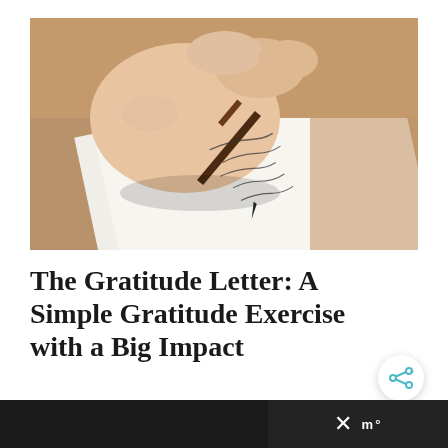[Figure (photo): Close-up photograph of a hand holding a fountain pen, writing cursive text on white paper on a wooden surface]
The Gratitude Letter: A Simple Gratitude Exercise with a Big Impact
Looking for a gratitude exercise that makes a big impact? Write a gratitude letter to someone you appreciate.